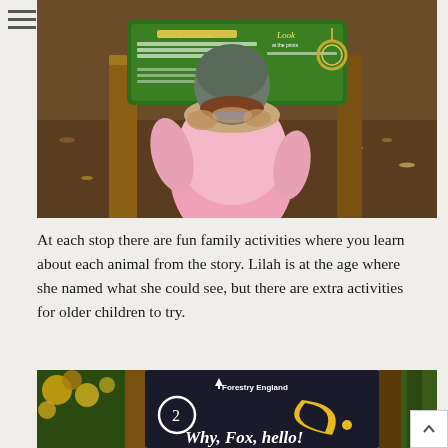[Figure (photo): A young child in a pink jacket with fur-trimmed hood, seen from behind, standing at a wooden trail activity station. A green informational sign is visible in the background. Forest floor with pine needles and leaves visible.]
At each stop there are fun family activities where you learn about each animal from the story. Lilah is at the age where she named what she could see, but there are extra activities for older children to try.
[Figure (photo): A dark chalkboard-style circular trail sign mounted on wooden posts. Text reads: Forestry England, number 2, Why, Fox, hello! A yellow crescent moon and star design is visible on the sign.]